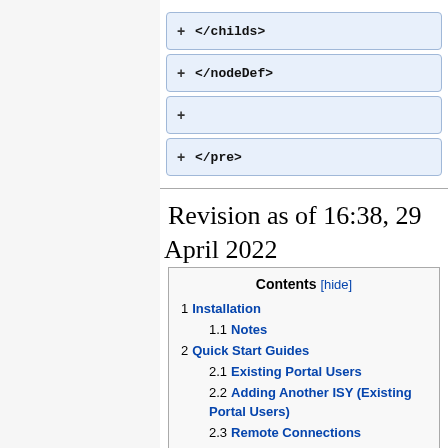[Figure (screenshot): Code diff view showing XML closing tags: </childs>, </nodeDef>, empty line, </pre> each with a blue rounded box and a plus sign]
Revision as of 16:38, 29 April 2022
| Contents [hide] |
| --- |
| 1 Installation |
| 1.1 Notes |
| 2 Quick Start Guides |
| 2.1 Existing Portal Users |
| 2.2 Adding Another ISY (Existing Portal Users) |
| 2.3 Remote Connections |
| 2.4 App Transport Security (ATS) iOS |